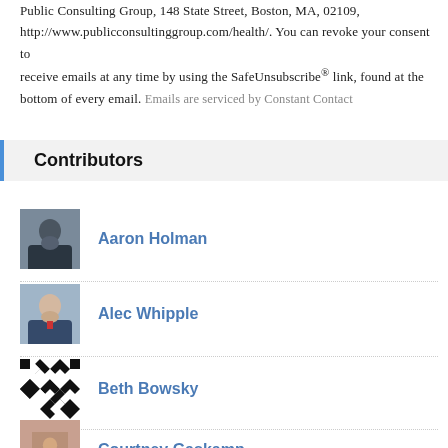Public Consulting Group, 148 State Street, Boston, MA, 02109, http://www.publicconsultinggroup.com/health/. You can revoke your consent to receive emails at any time by using the SafeUnsubscribe® link, found at the bottom of every email. Emails are serviced by Constant Contact
Contributors
[Figure (photo): Headshot of Aaron Holman, man in dark suit]
Aaron Holman
[Figure (photo): Headshot of Alec Whipple, young man smiling in suit]
Alec Whipple
[Figure (logo): Beth Bowsky avatar with black and white checkered diamond pattern]
Beth Bowsky
[Figure (photo): Headshot of Courtney Gaskamp, woman with reddish hair]
Courtney Gaskamp